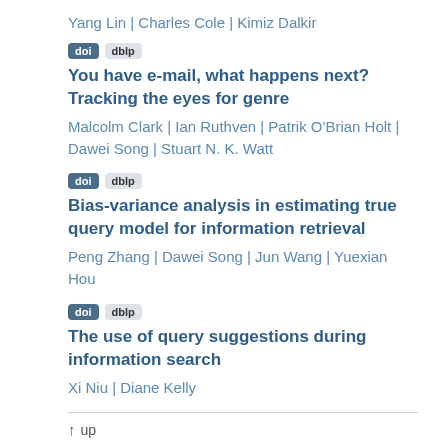Yang Lin | Charles Cole | Kimiz Dalkir
You have e-mail, what happens next? Tracking the eyes for genre
Malcolm Clark | Ian Ruthven | Patrik O'Brian Holt | Dawei Song | Stuart N. K. Watt
Bias-variance analysis in estimating true query model for information retrieval
Peng Zhang | Dawei Song | Jun Wang | Yuexian Hou
The use of query suggestions during information search
Xi Niu | Diane Kelly
up